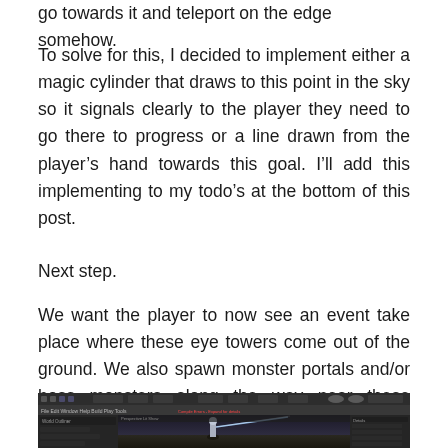go towards it and teleport on the edge somehow.
To solve for this, I decided to implement either a magic cylinder that draws to this point in the sky so it signals clearly to the player they need to go there to progress or a line drawn from the player’s hand towards this goal. I’ll add this implementing to my todo’s at the bottom of this post.
Next step.
We want the player to now see an event take place where these eye towers come out of the ground. We also spawn monster portals and/or boss monsters along the way near these towers.
[Figure (screenshot): Unreal Engine editor screenshot showing a game viewport with a character figure and a glowing line/ray effect in a dark 3D scene. The editor interface shows toolbar, menu bars, left and right panels.]